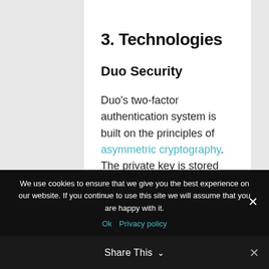3. Technologies
Duo Security
Duo's two-factor authentication system is built on the principles of asymmetric cryptography. The private key is stored on the user's smartphone, while the public key is stored on the
We use cookies to ensure that we give you the best experience on our website. If you continue to use this site we will assume that you are happy with it.
Ok   Privacy policy
Share This